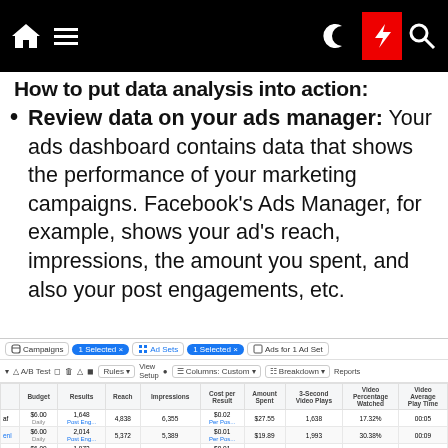How to put data analysis into action:
Review data on your ads manager: Your ads dashboard contains data that shows the performance of your marketing campaigns. Facebook's Ads Manager, for example, shows your ad's reach, impressions, the amount you spent, and also your post engagements, etc.
[Figure (screenshot): Facebook Ads Manager screenshot showing a table with campaign data including columns for Budget, Results, Reach, Impressions, Cost per Result, Amount Spent, 3-Second Video Plays, Video Percentage Watched, and Video Average Play Time, with multiple rows of ad data and a totals row.]